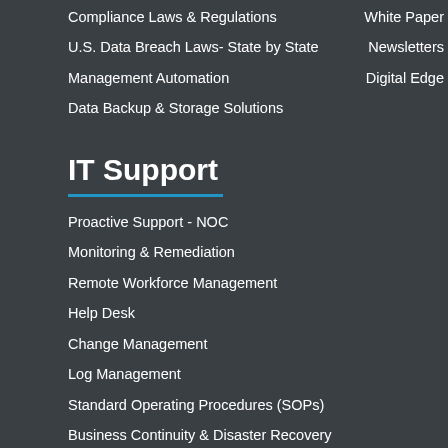Compliance Laws & Regulations
U.S. Data Breach Laws- State by State
Management Automation
Data Backup & Storage Solutions
White Paper
Newsletters
Digital Edge
IT Support
Proactive Support - NOC
Monitoring & Remediation
Remote Workforce Management
Help Desk
Change Management
Log Management
Standard Operating Procedures (SOPs)
Business Continuity & Disaster Recovery